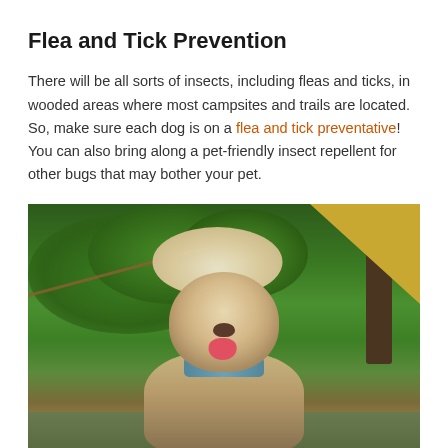Flea and Tick Prevention
There will be all sorts of insects, including fleas and ticks, in wooded areas where most campsites and trails are located. So, make sure each dog is on a flea and tick preventative! You can also bring along a pet-friendly insect repellent for other bugs that may bother your pet.
[Figure (photo): A happy white fluffy dog (appears to be a Goldendoodle or similar breed) sitting outdoors at a campsite, with green trees and foliage in the background and what appears to be a yellow tent in the upper right corner. The dog has its mouth open and tongue out, wearing a blue bandana/collar. Ropes are visible in the background.]